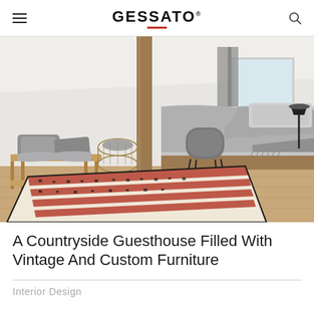GESSATO
[Figure (photo): Bedroom interior of a countryside guesthouse with Scandinavian style. Features a wooden platform bed with grey bedding, a grey accent chair, a wooden bench with grey pillows and a grey throw blanket, a wire basket, grey curtains, and a patterned Moroccan-style rug in cream, terracotta/rust, and black on light wood floors.]
A Countryside Guesthouse Filled With Vintage And Custom Furniture
Interior Design